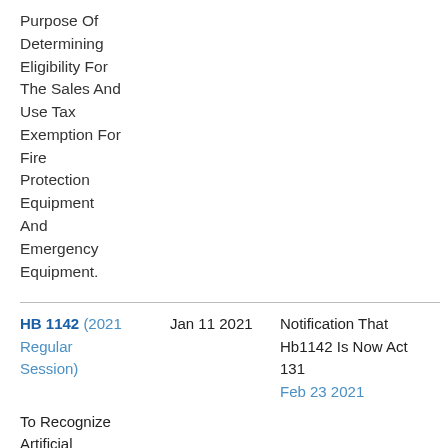Purpose Of Determining Eligibility For The Sales And Use Tax Exemption For Fire Protection Equipment And Emergency Equipment.
| Bill | Date | Notification |
| --- | --- | --- |
| HB 1142 (2021 Regular Session) | Jan 11 2021 | Notification That Hb1142 Is Now Act 131
Feb 23 2021 |
| To Recognize Artificial Insemination |  |  |